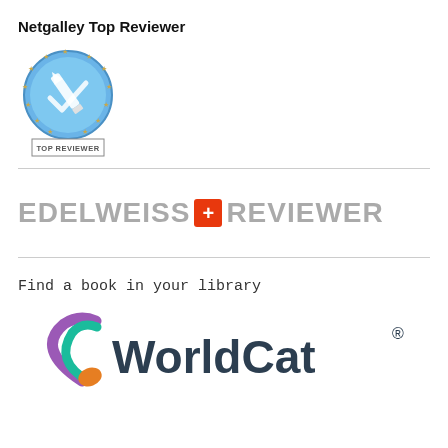Netgalley Top Reviewer
[Figure (logo): Netgalley Top Reviewer badge: blue circular emblem with a pencil/checkmark icon, surrounded by gold stars, with 'TOP REVIEWER' text in a rectangle at the bottom]
[Figure (logo): Edelweiss+ Reviewer logo: grey uppercase text 'EDELWEISS' followed by an orange/red cross/plus symbol badge and grey uppercase text 'REVIEWER']
Find a book in your library
[Figure (logo): WorldCat logo: colorful spiral icon in purple/orange/green followed by 'WorldCat' text with registered trademark symbol]